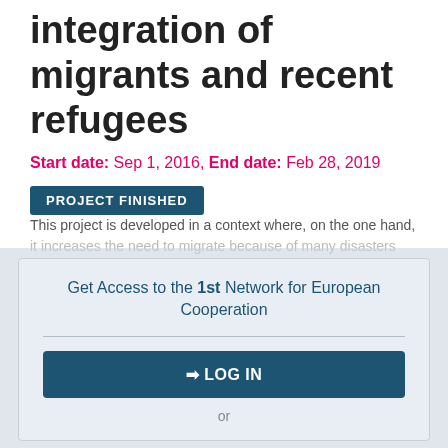integration of migrants and recent refugees
Start date: Sep 1, 2016, End date: Feb 28, 2019
PROJECT FINISHED
This project is developed in a context where, on the one hand, it increases the need to migrate because of many disasters
Get Access to the 1st Network for European Cooperation
➔ LOG IN
or